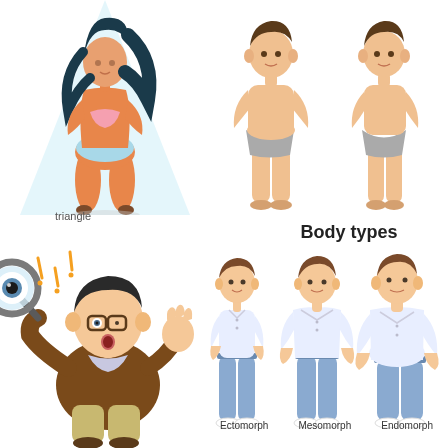[Figure (illustration): Cartoon illustration of a slim female figure with triangular body shape, wearing a pink bikini top and light blue bikini bottom, standing with hands on hips under a light blue spotlight background.]
triangle
[Figure (illustration): Two male cartoon body figures standing side by side, both wearing grey underwear, one slightly heavier set than the other, with light skin tones.]
Body types
[Figure (illustration): Cartoon illustration of a short, chubby bespectacled man holding a large magnifying glass up to one eye, wearing a brown sweater and khaki pants, with exclamation marks above head.]
[Figure (illustration): Three male cartoon figures representing Ectomorph (slim), Mesomorph (athletic), and Endomorph (heavier) body types, all wearing white t-shirts and blue jeans with white sneakers.]
Ectomorph    Mesomorph    Endomorph